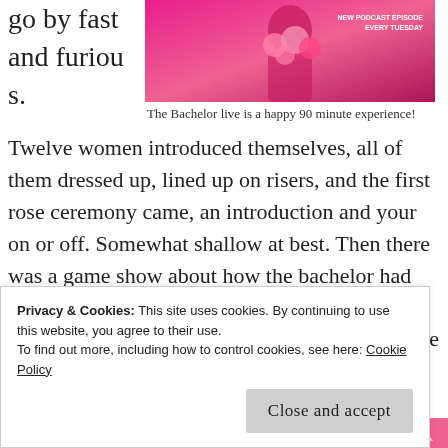go by fast and furious.
[Figure (photo): The Bachelor promotional image with a woman holding pink roses on a pink background, with text overlay 'NEW PODCAST EPISODE EVERY TUESDAY']
The Bachelor live is a happy 90 minute experience!
Twelve women introduced themselves, all of them dressed up, lined up on risers, and the first rose ceremony came, an introduction and your on or off. Somewhat shallow at best. Then there was a game show about how the bachelor had answered questions.  The woman getting the most answers right got a rose. There was a dance off called Lip
Privacy & Cookies: This site uses cookies. By continuing to use this website, you agree to their use. To find out more, including how to control cookies, see here: Cookie Policy
Close and accept